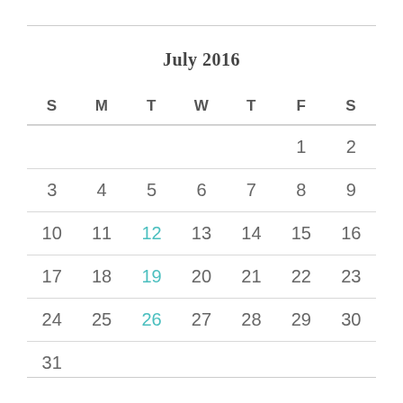July 2016
| S | M | T | W | T | F | S |
| --- | --- | --- | --- | --- | --- | --- |
|  |  |  |  |  | 1 | 2 |
| 3 | 4 | 5 | 6 | 7 | 8 | 9 |
| 10 | 11 | 12 | 13 | 14 | 15 | 16 |
| 17 | 18 | 19 | 20 | 21 | 22 | 23 |
| 24 | 25 | 26 | 27 | 28 | 29 | 30 |
| 31 |  |  |  |  |  |  |